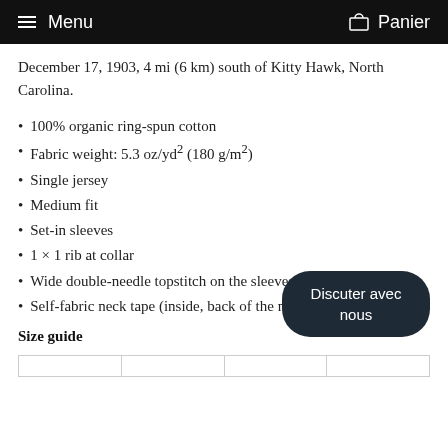Menu  Panier
December 17, 1903, 4 mi (6 km) south of Kitty Hawk, North Carolina.
100% organic ring-spun cotton
Fabric weight: 5.3 oz/yd² (180 g/m²)
Single jersey
Medium fit
Set-in sleeves
1 × 1 rib at collar
Wide double-needle topstitch on the sleeves and bottom hems
Self-fabric neck tape (inside, back of the neck)
Size guide